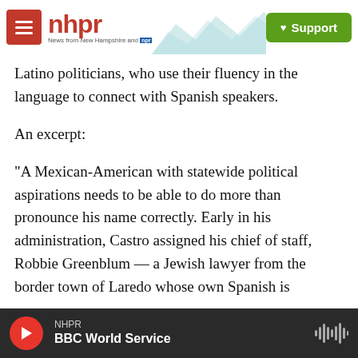nhpr — News from New Hampshire and NPR | Support
Latino politicians, who use their fluency in the language to connect with Spanish speakers.
An excerpt:
"A Mexican-American with statewide political aspirations needs to be able to do more than pronounce his name correctly. Early in his administration, Castro assigned his chief of staff, Robbie Greenblum — a Jewish lawyer from the border town of Laredo whose own Spanish is impeccable — to discreetly find him a tutor. Rosie Castro's son is now being taught Spanish by a
NHPR | BBC World Service